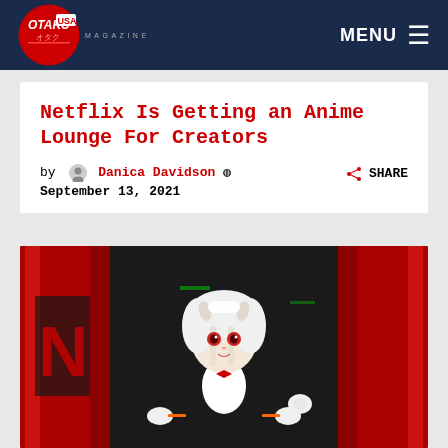OTAKU USA MAGAZINE — MENU
Netflix Is Getting an Anime Lounge For Creators
by Danica Davidson © September 13, 2021
[Figure (photo): Anime-style character in black and white maid outfit with red bow and white horns, standing in front of a Netflix backdrop with red curtains. The character has white braided hair and is posed with arms out.]